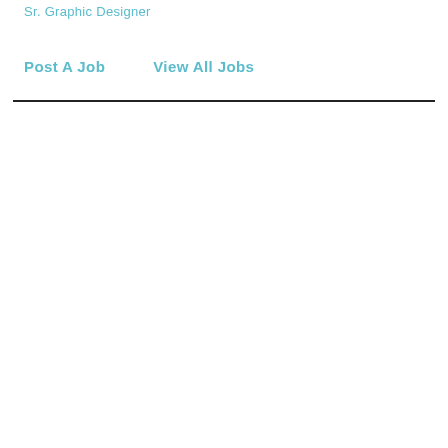Sr. Graphic Designer
Post A Job    View All Jobs